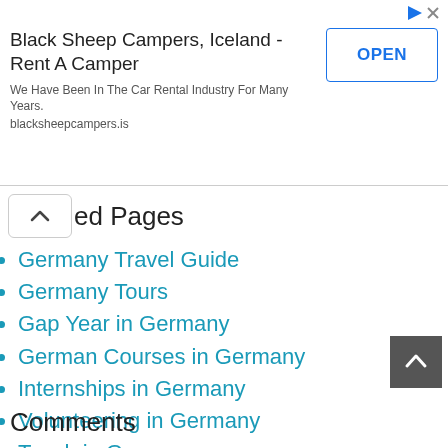[Figure (screenshot): Advertisement banner for Black Sheep Campers Iceland with title, description, OPEN button, and ad icons]
ed Pages
Germany Travel Guide
Germany Tours
Gap Year in Germany
German Courses in Germany
Internships in Germany
Volunteering in Germany
Teach in Germany
Comments